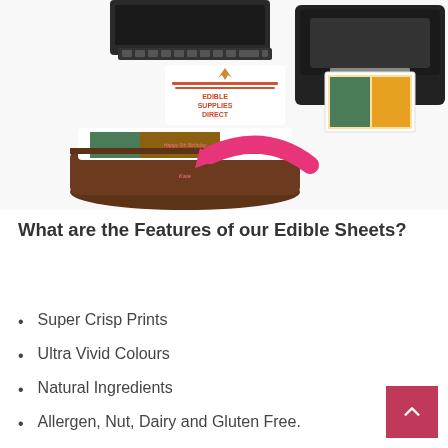[Figure (photo): Product photo showing a laptop keyboard, an inkjet printer printing an edible sheet, the Edible Supplies Direct logo, a decorated birthday cake with a printed edible photo topper, and a pink arrow pointing from the printer to the cake.]
What are the Features of our Edible Sheets?
Super Crisp Prints
Ultra Vivid Colours
Natural Ingredients
Allergen, Nut, Dairy and Gluten Free.
Packaged safely in a Food Safe Slip and Protective Box.
No Chemicals or Artificial Preservatives